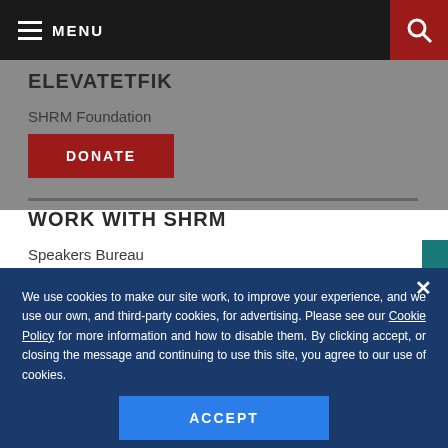MENU
ELEVATETFIK
SHRM Foundation
DONATE
WORK WITH SHRM
Speakers Bureau
We use cookies to make our site work, to improve your experience, and we use our own, and third-party cookies, for advertising. Please see our Cookie Policy for more information and how to disable them. By clicking accept, or closing the message and continuing to use this site, you agree to our use of cookies.
ACCEPT